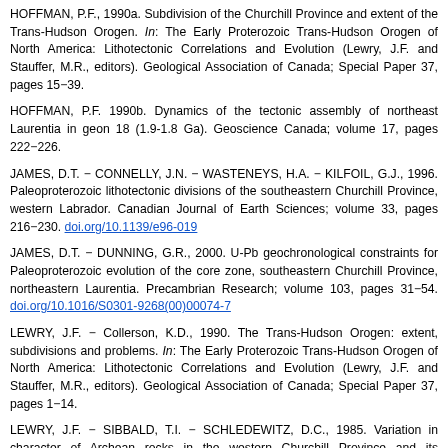HOFFMAN, P.F., 1990a. Subdivision of the Churchill Province and extent of the Trans-Hudson Orogen. In: The Early Proterozoic Trans-Hudson Orogen of North America: Lithotectonic Correlations and Evolution (Lewry, J.F. and Stauffer, M.R., editors). Geological Association of Canada; Special Paper 37, pages 15−39.
HOFFMAN, P.F. 1990b. Dynamics of the tectonic assembly of northeast Laurentia in geon 18 (1.9-1.8 Ga). Geoscience Canada; volume 17, pages 222−226.
JAMES, D.T. − CONNELLY, J.N. − WASTENEYS, H.A. − KILFOIL, G.J., 1996. Paleoproterozoic lithotectonic divisions of the southeastern Churchill Province, western Labrador. Canadian Journal of Earth Sciences; volume 33, pages 216−230. doi.org/10.1139/e96-019
JAMES, D.T. − DUNNING, G.R., 2000. U-Pb geochronological constraints for Paleoproterozoic evolution of the core zone, southeastern Churchill Province, northeastern Laurentia. Precambrian Research; volume 103, pages 31−54. doi.org/10.1016/S0301-9268(00)00074-7
LEWRY, J.F. − Collerson, K.D., 1990. The Trans-Hudson Orogen: extent, subdivisions and problems. In: The Early Proterozoic Trans-Hudson Orogen of North America: Lithotectonic Correlations and Evolution (Lewry, J.F. and Stauffer, M.R., editors). Geological Association of Canada; Special Paper 37, pages 1−14.
LEWRY, J.F. − SIBBALD, T.I. − SCHLEDEWITZ, D.C., 1985. Variation in character of Archean rocks in the western Churchill Province and its significance. In: Evolution of Archean Supracrustal Sequences (Ayres, L.D., Thurston, P.C., Card, K.D. and Weber, W.). Geological Association of Canada; Special Paper 28, p. 239−261.